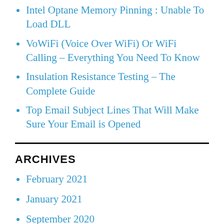Intel Optane Memory Pinning : Unable To Load DLL
VoWiFi (Voice Over WiFi) Or WiFi Calling – Everything You Need To Know
Insulation Resistance Testing – The Complete Guide
Top Email Subject Lines That Will Make Sure Your Email is Opened
ARCHIVES
February 2021
January 2021
September 2020